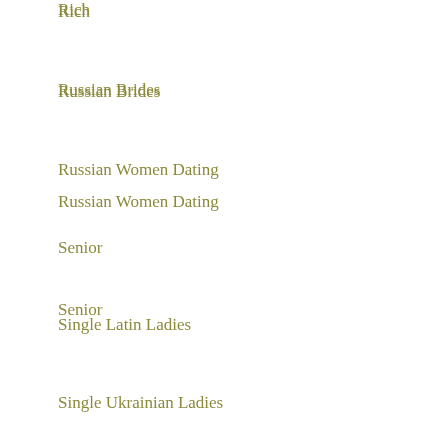Rich
Russian Brides
Russian Women Dating
Senior
Single Latin Ladies
Single Ukrainian Ladies
Spdate Reviews
top website builders
ukrainian brides
Ukrainian Dating Sites